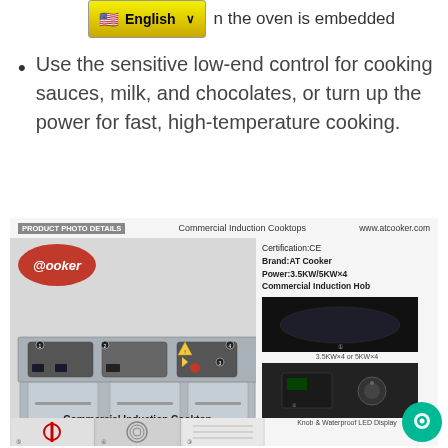English   n the oven is embedded
Use the sensitive low-end control for cooking sauces, milk, and chocolates, or turn up the power for fast, high-temperature cooking.
[Figure (photo): Product photo details card for Commercial Induction Cooktops by AT Cooker (www.atcooker.com). Shows a large stainless steel commercial induction hob unit with multiple burners, the AT Cooker logo (red oval), certification CE, Brand AT Cooker, Power 3.5KW/5KW×4 Commercial Induction Hob, with two smaller detail photos: one showing the cooking surface (3.5KW×4 or 5KW×4) and one showing the Knob & Waterproof LED Display. Caption: Commercial Induction Cooktop, Made by AT Cooker. Bottom shows partial strip of three detail images numbered 5, 4, 3.]
Commercial Induction Cooktop
Made by AT Cooker